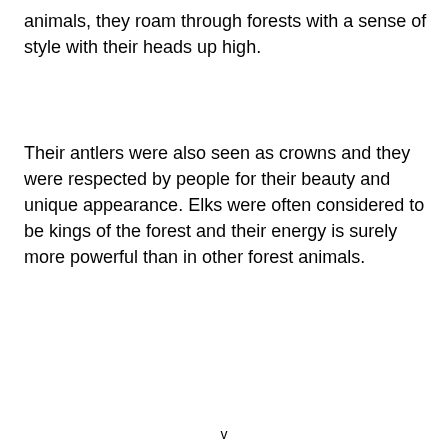animals, they roam through forests with a sense of style with their heads up high.
Their antlers were also seen as crowns and they were respected by people for their beauty and unique appearance. Elks were often considered to be kings of the forest and their energy is surely more powerful than in other forest animals.
v